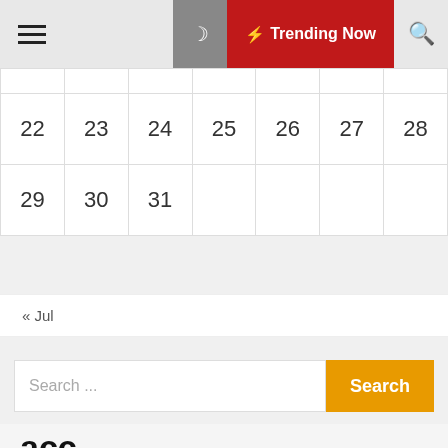☰ 🌙 ⚡ Trending Now 🔍
|  |  |  |  |  |  |  |
| 22 | 23 | 24 | 25 | 26 | 27 | 28 |
| 29 | 30 | 31 |  |  |  |  |
« Jul
Search ...
acc
/ Cook-Loved et for $10 at Amazon
Baker City HeraldEasy in the Kitch | Home & Living |...